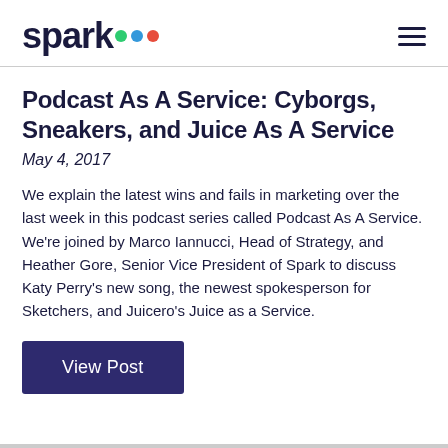spark
Podcast As A Service: Cyborgs, Sneakers, and Juice As A Service
May 4, 2017
We explain the latest wins and fails in marketing over the last week in this podcast series called Podcast As A Service. We're joined by Marco Iannucci, Head of Strategy, and Heather Gore, Senior Vice President of Spark to discuss Katy Perry's new song, the newest spokesperson for Sketchers, and Juicero's Juice as a Service.
View Post